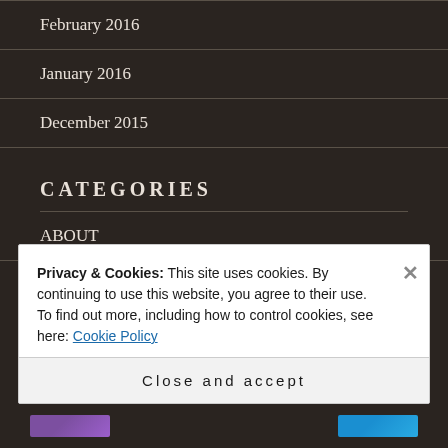February 2016
January 2016
December 2015
CATEGORIES
ABOUT
Amanda Kunard
Privacy & Cookies: This site uses cookies. By continuing to use this website, you agree to their use.
To find out more, including how to control cookies, see here: Cookie Policy
Close and accept